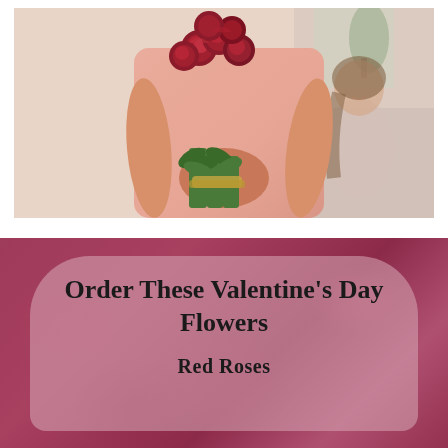[Figure (photo): Person in pink shirt holding a bouquet of red roses behind their back, with a smiling woman sitting in the background in an indoor setting.]
Order These Valentine's Day Flowers
Red Roses